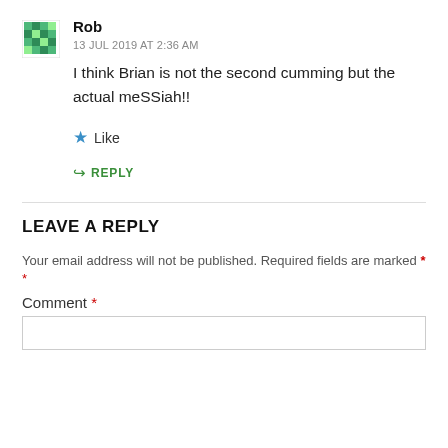[Figure (illustration): Green pixel/mosaic avatar icon for user Rob]
Rob
13 JUL 2019 AT 2:36 AM
I think Brian is not the second cumming but the actual meSSiah!!
★ Like
↳ REPLY
LEAVE A REPLY
Your email address will not be published. Required fields are marked *
Comment *